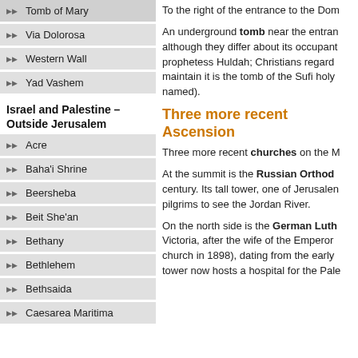Tomb of Mary
Via Dolorosa
Western Wall
Yad Vashem
Israel and Palestine – Outside Jerusalem
Acre
Baha'i Shrine
Beersheba
Beit She'an
Bethany
Bethlehem
Bethsaida
Caesarea Maritima
To the right of the entrance to the Dom...
An underground tomb near the entra... although they differ about its occupant... prophetess Huldah; Christians regard... maintain it is the tomb of the Sufi holy... named).
Three more recent Ascension
Three more recent churches on the M...
At the summit is the Russian Orthod... century. Its tall tower, one of Jerusalen... pilgrims to see the Jordan River.
On the north side is the German Luth... Victoria, after the wife of the Emperor... church in 1898), dating from the early... tower now hosts a hospital for the Pale...